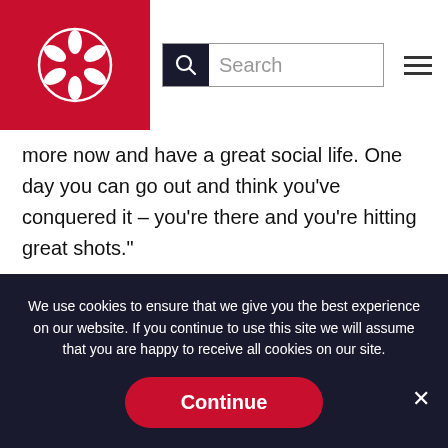Search
more now and have a great social life. One day you can go out and think you’ve conquered it – you’re there and you’re hitting great shots.”
Jenny added: “I think it’s definitely benefited my health and wellbeing, particularly coming out of Covid. Just being able to get out and get some fresh air, see new people and integrate yourself among people you wouldn’t necessarily meet in
We use cookies to ensure that we give you the best experience on our website. If you continue to use this site we will assume that you are happy to receive all cookies on our site.
Continue